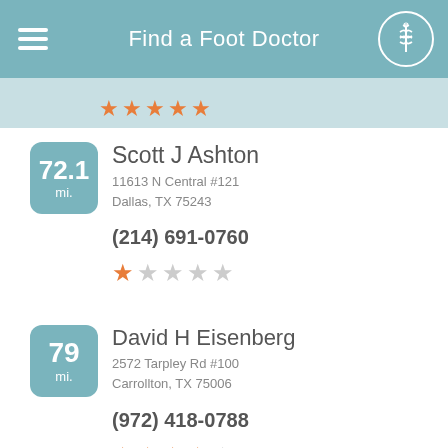Find a Foot Doctor
72.1 mi. | Scott J Ashton | 11613 N Central #121, Dallas, TX 75243 | (214) 691-0760 | Rating: 1 star
79 mi. | David H Eisenberg | 2572 Tarpley Rd #100, Carrollton, TX 75006 | (972) 418-0788 | Rating: 4 stars
Richard Fusanio (partial)